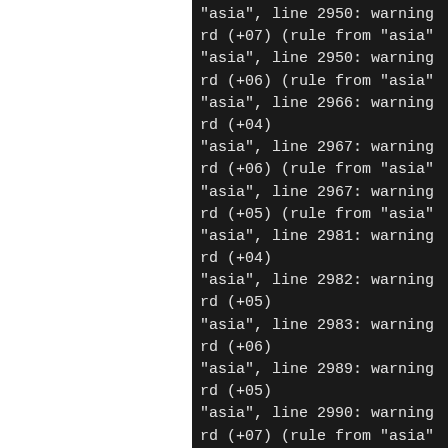"asia", line 2950: warning
rd (+07) (rule from "asia"
"asia", line 2950: warning
rd (+06) (rule from "asia"
"asia", line 2966: warning
rd (+04)
"asia", line 2967: warning
rd (+06) (rule from "asia"
"asia", line 2967: warning
rd (+05) (rule from "asia"
"asia", line 2981: warning
rd (+04)
"asia", line 2982: warning
rd (+05)
"asia", line 2983: warning
rd (+06)
"asia", line 2989: warning
rd (+05)
"asia", line 2990: warning
rd (+07) (rule from "asia"
"asia", line 2990: warning
rd (+06) (rule from "asia"
/usr/sbin/zic -d /tmp/tzda
ull -y ./yearistype austra